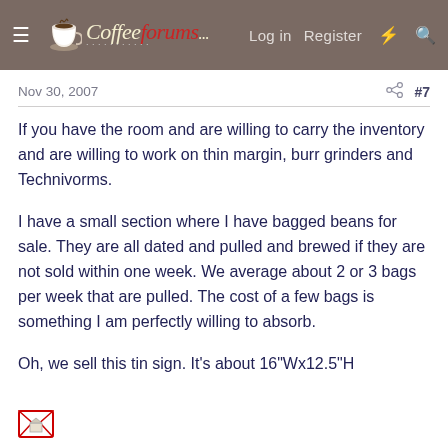CoffeeForums.com — Log in  Register
Nov 30, 2007  #7
If you have the room and are willing to carry the inventory and are willing to work on thin margin, burr grinders and Technivorms.
I have a small section where I have bagged beans for sale. They are all dated and pulled and brewed if they are not sold within one week. We average about 2 or 3 bags per week that are pulled. The cost of a few bags is something I am perfectly willing to absorb.
Oh, we sell this tin sign. It's about 16"Wx12.5"H
[Figure (other): Small attachment/image icon at bottom left (envelope/image icon)]